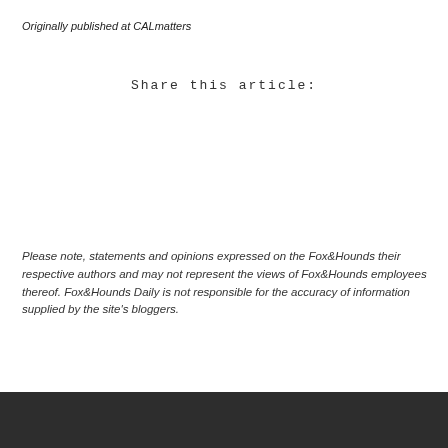Originally published at CALmatters
Share this article:
Please note, statements and opinions expressed on the Fox&Hounds their respective authors and may not represent the views of Fox&Hounds employees thereof. Fox&Hounds Daily is not responsible for the accuracy of information supplied by the site's bloggers.